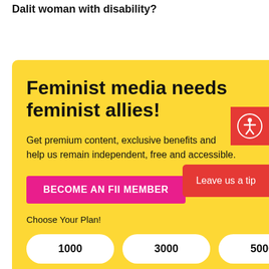What has been your experience of living as a Dalit woman with disability?
Feminist media needs feminist allies!
Get premium content, exclusive benefits and help us remain independent, free and accessible.
BECOME AN FII MEMBER
Choose Your Plan!
1000
3000
5000
Leave us a tip